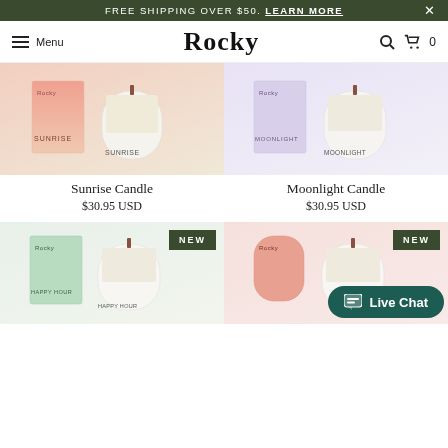FREE SHIPPING OVER $50. LEARN MORE  ×
Rocky  Menu  🔍  🛒 0
[Figure (photo): Product photo: Sunrise Candle with orange-pink gradient box and glass candle jar labeled SUNRISE]
Sunrise Candle
$30.95 USD
[Figure (photo): Product photo: Moonlight Candle with lavender/purple box and glass candle jar labeled MOONLIGHT]
Moonlight Candle
$30.95 USD
[Figure (photo): Product photo: Happy Hour Candle with mint green box and glass candle jar labeled HAPPY HOUR, with NEW badge]
[Figure (photo): Product photo: New candle with pink/salmon box and glass candle jar, with NEW badge and Live Chat overlay]